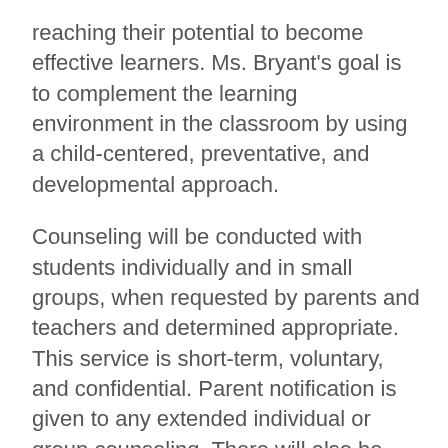reaching their potential to become effective learners. Ms. Bryant's goal is to complement the learning environment in the classroom by using a child-centered, preventative, and developmental approach.
Counseling will be conducted with students individually and in small groups, when requested by parents and teachers and determined appropriate. This service is short-term, voluntary, and confidential. Parent notification is given to any extended individual or group counseling. There will also be monthly classroom guidance lessons focusing on student success.